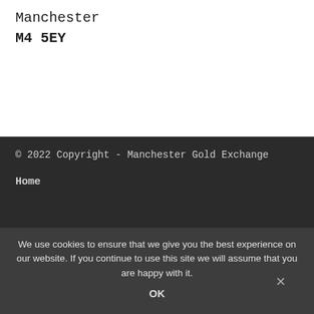Manchester
M4 5EY
© 2022 Copyright - Manchester Gold Exchange
Home
We use cookies to ensure that we give you the best experience on our website. If you continue to use this site we will assume that you are happy with it.
OK